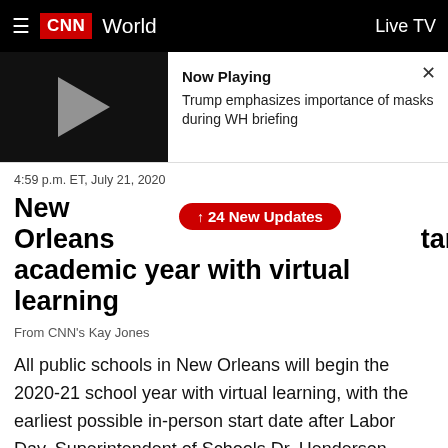CNN World  Live TV
[Figure (screenshot): Video player thumbnail with play button showing a dark background and gray play triangle, with 'Now Playing' label and text 'Trump emphasizes importance of masks during WH briefing' and a close X button]
4:59 p.m. ET, July 21, 2020
New Orleans to start academic year with virtual learning
24 New Updates
From CNN's Kay Jones
All public schools in New Orleans will begin the 2020-21 school year with virtual learning, with the earliest possible in-person start date after Labor Day, Superintendent of Schools Dr. Henderson Lewis announced at a news conference Tuesday.
"Based on our monitoring of the current public health data, such as the increase of cases per day and other